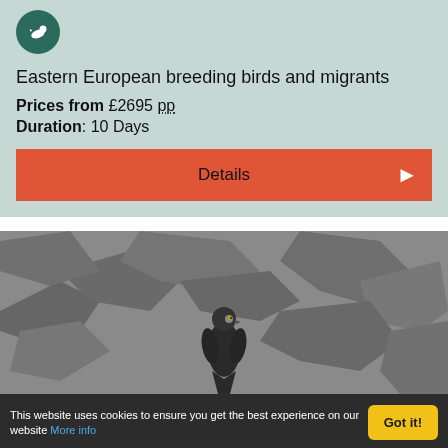[Figure (logo): Circular dark green logo with a white bird silhouette]
Eastern European breeding birds and migrants
Prices from £2695 pp
Duration: 10 Days
Details
[Figure (photo): A dark falcon or swift bird perched on rocky grey stones, black and white photography style]
This website uses cookies to ensure you get the best experience on our website More info
Got it!